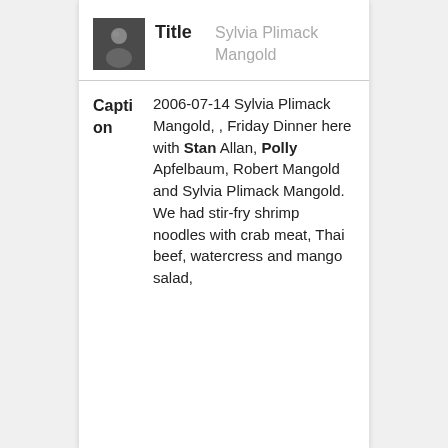[Figure (photo): Small thumbnail photo of a person (dark toned image)]
Sylvia Plimack Mangold
2006-07-14 Sylvia Plimack Mangold, , Friday Dinner here with Stan Allan, Polly Apfelbaum, Robert Mangold and Sylvia Plimack Mangold. We had stir-fry shrimp noodles with crab meat, Thai beef, watercress and mango salad,